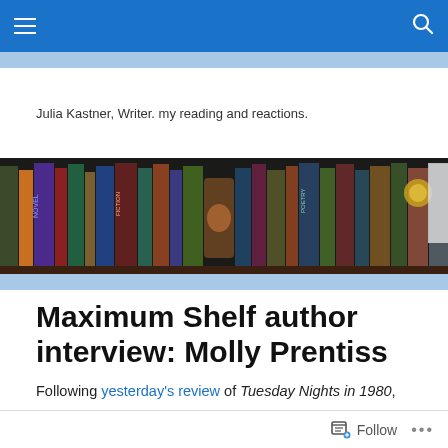Navigation bar with menu and search icons
Julia Kastner, Writer. my reading and reactions.
[Figure (photo): Photograph of a bookshelf filled with various books of different sizes and colors, including some decorative items.]
Maximum Shelf author interview: Molly Prentiss
Following yesterday's review of Tuesday Nights in 1980,
Follow  ...